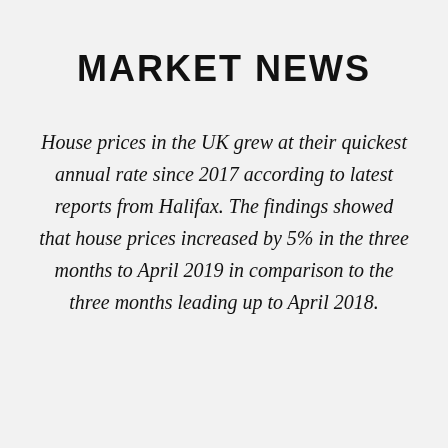MARKET NEWS
House prices in the UK grew at their quickest annual rate since 2017 according to latest reports from Halifax. The findings showed that house prices increased by 5% in the three months to April 2019 in comparison to the three months leading up to April 2018.